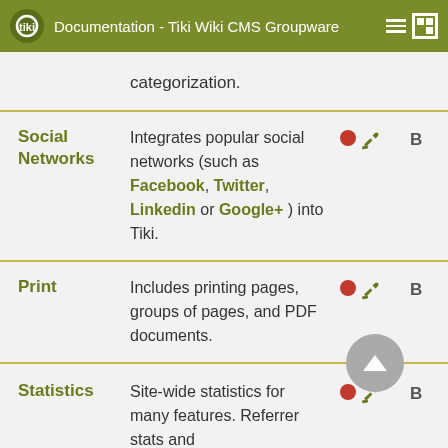Documentation - Tiki Wiki CMS Groupware
| Feature | Description | Icons | B |
| --- | --- | --- | --- |
|  | categorization. |  |  |
| Social Networks | Integrates popular social networks (such as Facebook, Twitter, Linkedin or Google+) into Tiki. | ● 🔧 | B |
| Print | Includes printing pages, groups of pages, and PDF documents. | ● 🔧 | B |
| Statistics | Site-wide statistics for many features. Referrer stats and | ● 🔧 | B |